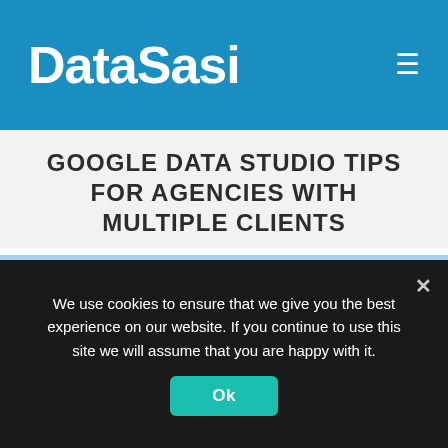DataSasi
GOOGLE DATA STUDIO TIPS FOR AGENCIES WITH MULTIPLE CLIENTS
April 7, 2020
[Figure (illustration): Two arrows illustration: a blue upward arrow and a pink/red downward arrow on a light blue/pink background]
I share the knowledge that I have gained as a Google Data Studio freelancer since 2017. Subscribe for Google Data Studio Templates, Tutorial and Tips.
We use cookies to ensure that we give you the best experience on our website. If you continue to use this site we will assume that you are happy with it.